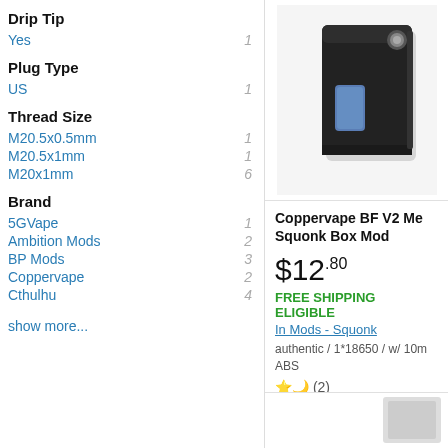Drip Tip
Yes  1
Plug Type
US  1
Thread Size
M20.5x0.5mm  1
M20.5x1mm  1
M20x1mm  6
Brand
5GVape  1
Ambition Mods  2
BP Mods  3
Coppervape  2
Cthulhu  4
show more...
[Figure (photo): Coppervape BF V2 Mech Squonk Box Mod product image - black box mod device]
Coppervape BF V2 Me Squonk Box Mod
$12.80
FREE SHIPPING ELIGIBLE
In Mods - Squonk
authentic / 1*18650 / w/ 10m ABS
(2)